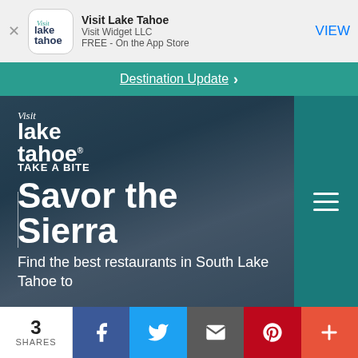[Figure (screenshot): App Store banner for Visit Lake Tahoe app by Visit Widget LLC, FREE on the App Store with a VIEW button]
Destination Update >
[Figure (screenshot): Visit Lake Tahoe website hero section with logo, hamburger menu, TAKE A BITE label, Savor the Sierra heading, and Find the best restaurants in South Lake Tahoe to subtitle text over a dark atmospheric background]
3 SHARES
Facebook, Twitter, Email, Pinterest, More share buttons